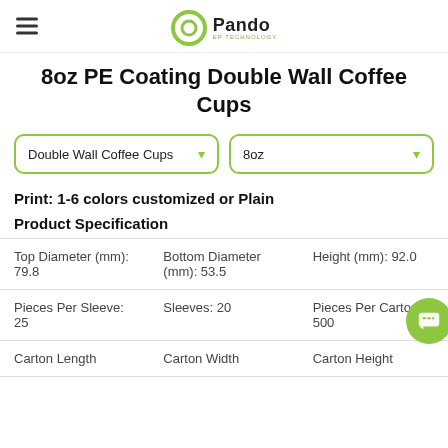Pando EP TECHNOLOGY
8oz PE Coating Double Wall Coffee Cups
Double Wall Coffee Cups | 8oz
Print: 1-6 colors customized or Plain
Product Specification
|  |  |  |
| --- | --- | --- |
| Top Diameter (mm): 79.8 | Bottom Diameter (mm): 53.5 | Height (mm): 92.0 |
| Pieces Per Sleeve: 25 | Sleeves: 20 | Pieces Per Carton: 500 |
| Carton Length | Carton Width | Carton Height |